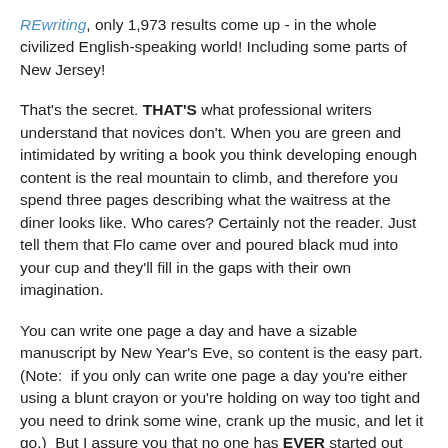REwriting, only 1,973 results come up - in the whole civilized English-speaking world!  Including some parts of New Jersey!
That's the secret.  THAT'S what professional writers understand that novices don't.  When you are green and intimidated by writing a book you think developing enough content is the real mountain to climb, and therefore you spend three pages describing what the waitress at the diner looks like.  Who cares?  Certainly not the reader.  Just tell them that Flo came over and poured black mud into your cup and they'll fill in the gaps with their own imagination.
You can write one page a day and have a sizable manuscript by New Year's Eve, so content is the easy part. (Note:  if you only can write one page a day you're either using a blunt crayon or you're holding on way too tight and you need to drink some wine, crank up the music, and let it go.)  But I assure you that no one has EVER started out with a polished draft.
I've kept copious notes as I chug along with my red pen, struggling and failing fantastically, and here are the first 10 tips on rewriting to get you started. (I have more than that. Including the Holy Teeth of...